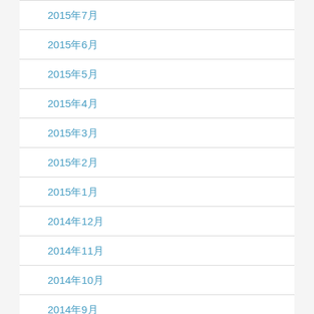2015年7月
2015年6月
2015年5月
2015年4月
2015年3月
2015年2月
2015年1月
2014年12月
2014年11月
2014年10月
2014年9月
2014年8月
2014年7月